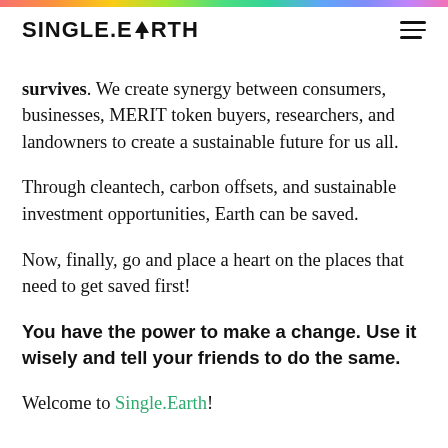SINGLE.EARTH [logo with tree icon and hamburger menu]
survives. We create synergy between consumers, businesses, MERIT token buyers, researchers, and landowners to create a sustainable future for us all.
Through cleantech, carbon offsets, and sustainable investment opportunities, Earth can be saved.
Now, finally, go and place a heart on the places that need to get saved first!
You have the power to make a change. Use it wisely and tell your friends to do the same.
Welcome to Single.Earth!